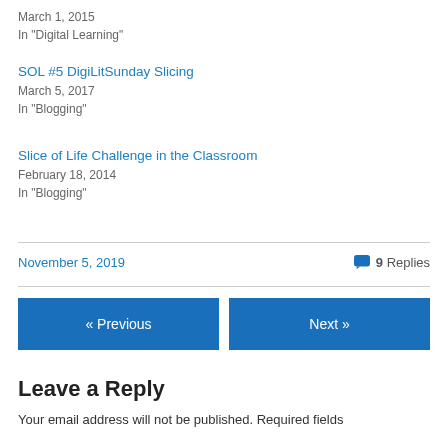March 1, 2015
In "Digital Learning"
SOL #5 DigiLitSunday Slicing
March 5, 2017
In "Blogging"
Slice of Life Challenge in the Classroom
February 18, 2014
In "Blogging"
November 5, 2019
9 Replies
« Previous
Next »
Leave a Reply
Your email address will not be published. Required fields